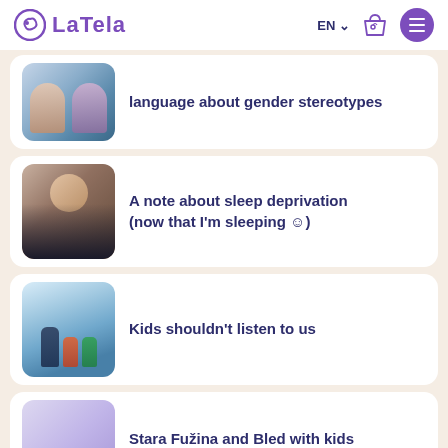LaTela — EN — navigation header
language about gender stereotypes
A note about sleep deprivation (now that I'm sleeping ☺)
Kids shouldn't listen to us
Stara Fužina and Bled with kids